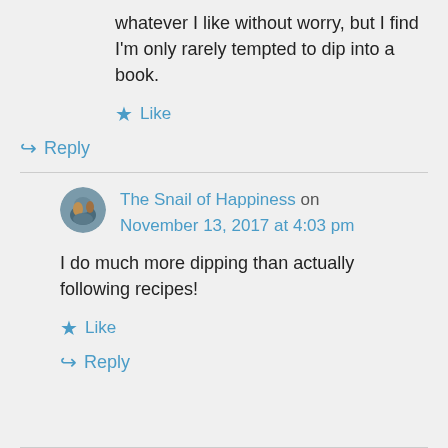whatever I like without worry, but I find I'm only rarely tempted to dip into a book.
★ Like
↳ Reply
The Snail of Happiness on November 13, 2017 at 4:03 pm
I do much more dipping than actually following recipes!
★ Like
↳ Reply